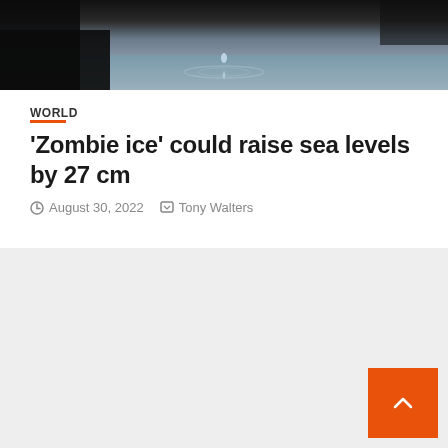[Figure (photo): Photograph of water droplet or ice melting into dark water with blurred background]
WORLD
'Zombie ice' could raise sea levels by 27 cm
August 30, 2022   Tony Walters
NAVIGATE
Home
Top News
World
Economy
science
Technology